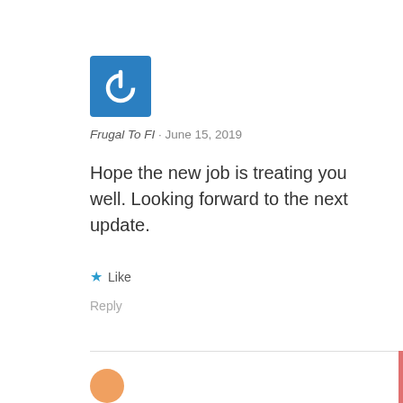[Figure (logo): Blue square avatar with white power button icon]
Frugal To FI · June 15, 2019
Hope the new job is treating you well. Looking forward to the next update.
★ Like
Reply
[Figure (illustration): Partial orange circle avatar at bottom left]